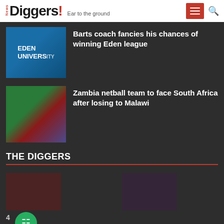News Diggers! Ear to the ground
Barts coach fancies his chances of winning Eden league
[Figure (photo): Photo showing Eden University banner with a person in blue]
Zambia netball team to face South Africa after losing to Malawi
[Figure (photo): Photo of netball players in action]
THE DIGGERS
Joseph Mwenda
EDITOR-IN-CHIEF
Mukosha Funga Njenga
MANAGING EDITOR